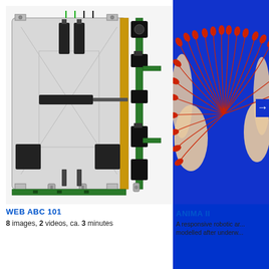[Figure (engineering-diagram): Front and side view of a electronic/mechanical device (WEB ABC 101) with PCB components, switches, and bracket mounts. Two views shown side by side.]
WEB ABC 101
8 images, 2 videos, ca. 3 minutes
[Figure (photo): Photo of ANIMA II, a responsive robotic arm modelled after underwater creature, showing fan-like red tentacle pattern near human hands, on blue background with arrow.]
ANIMA II
A responsive robotic ar... modelled after underw...